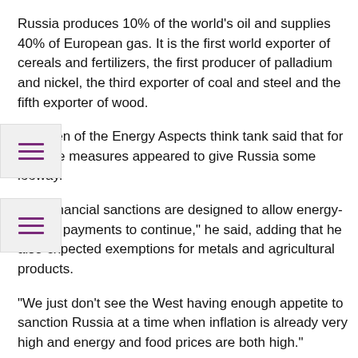Russia produces 10% of the world's oil and supplies 40% of European gas. It is the first world exporter of cereals and fertilizers, the first producer of palladium and nickel, the third exporter of coal and steel and the fifth exporter of wood.
…ta Sen of the Energy Aspects think tank said that for now the measures appeared to give Russia some leeway.
“The financial sanctions are designed to allow energy-related payments to continue,” he said, adding that he also expected exemptions for metals and agricultural products.
“We just don’t see the West having enough appetite to sanction Russia at a time when inflation is already very high and energy and food prices are both high.”
US President Joe Biden said the sanctions were designed to have a long-term freezing effect on Russia’s economy. So how might